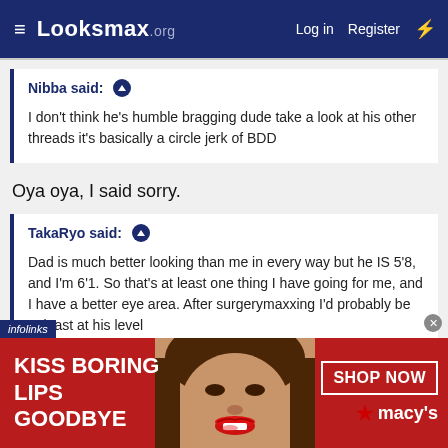Looksmax.org  Log in  Register
Nibba said:
I don't think he's humble bragging dude take a look at his other threads it's basically a circle jerk of BDD
Oya oya, I said sorry.
TakaRyo said:
Dad is much better looking than me in every way but he IS 5'8, and I'm 6'1. So that's at least one thing I have going for me, and I have a better eye area. After surgerymaxxing I'd probably be at least at his level
[Figure (screenshot): Advertisement banner: KISS BORING LIPS GOODBYE with photo of woman with red lips and Macy's SHOP NOW button]